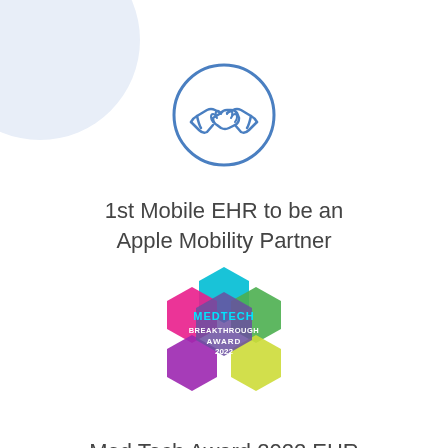[Figure (illustration): Blue circle icon with two hands shaking (handshake) inside, outlined in blue on white background]
1st Mobile EHR to be an Apple Mobility Partner
[Figure (logo): MedTech Breakthrough Award 2022 logo — colorful hexagonal badge in magenta, cyan, green, yellow, and purple with text MEDTECH BREAKTHROUGH AWARD 2022]
Med Tech Award 2022 EHR